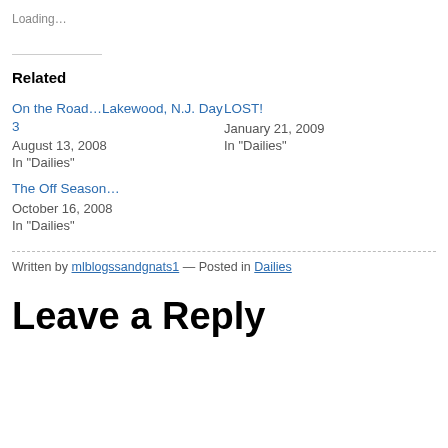Loading…
Related
On the Road…Lakewood, N.J. Day 3
August 13, 2008
In "Dailies"
LOST!
January 21, 2009
In "Dailies"
The Off Season…
October 16, 2008
In "Dailies"
Written by mlblogssandgnats1 — Posted in Dailies
Leave a Reply